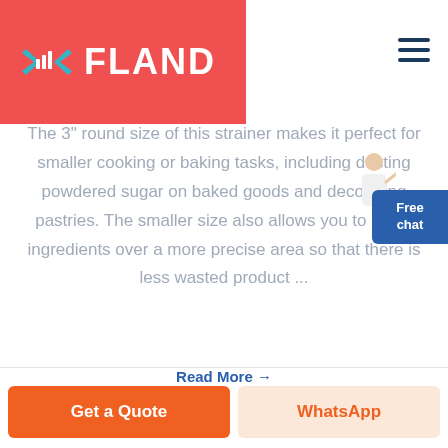[Figure (logo): FLAND brand logo with geometric diamond/arrow icon in teal/blue on red background, with white text 'FLAND']
[Figure (other): Hamburger menu icon (three horizontal lines) in dark blue, top-right corner]
The 3" round size of this strainer makes it perfect for smaller cooking or baking tasks, including dusting powdered sugar on baked goods and decorating pastries. The smaller size also allows you to strain ingredients over a more precise area so that there is less wasted product ...
Read More →
[Figure (illustration): Person (customer service representative) figure next to Free chat button]
Free chat
Get a Quote
WhatsApp